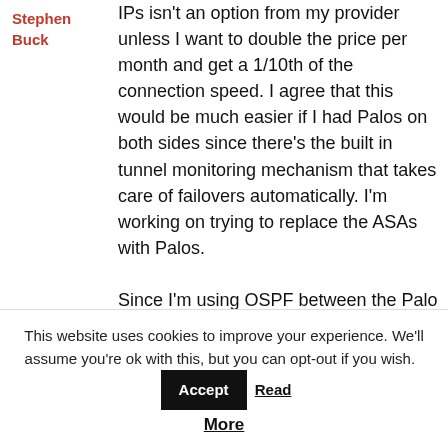Stephen Buck
IPs isn't an option from my provider unless I want to double the price per month and get a 1/10th of the connection speed. I agree that this would be much easier if I had Palos on both sides since there's the built in tunnel monitoring mechanism that takes care of failovers automatically. I'm working on trying to replace the ASAs with Palos.

Since I'm using OSPF between the Palo and my Cisco core switch, I was able to manipulate the routes to get
This website uses cookies to improve your experience. We'll assume you're ok with this, but you can opt-out if you wish. Accept Read More